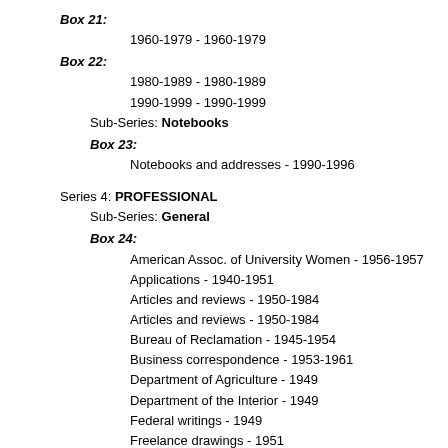Box 21:
1960-1979 - 1960-1979
Box 22:
1980-1989 - 1980-1989
1990-1999 - 1990-1999
Sub-Series: Notebooks
Box 23:
Notebooks and addresses - 1990-1996
Series 4: PROFESSIONAL
Sub-Series: General
Box 24:
American Assoc. of University Women - 1956-1957
Applications - 1940-1951
Articles and reviews - 1950-1984
Articles and reviews - 1950-1984
Bureau of Reclamation - 1945-1954
Business correspondence - 1953-1961
Department of Agriculture - 1949
Department of the Interior - 1949
Federal writings - 1949
Freelance drawings - 1951
Box 25:
Guggenheim application - 1954
Hungarian aid - 1937